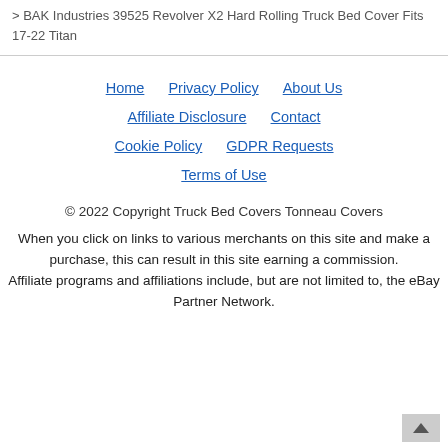> BAK Industries 39525 Revolver X2 Hard Rolling Truck Bed Cover Fits 17-22 Titan
Home  Privacy Policy  About Us  Affiliate Disclosure  Contact  Cookie Policy  GDPR Requests  Terms of Use
© 2022 Copyright Truck Bed Covers Tonneau Covers
When you click on links to various merchants on this site and make a purchase, this can result in this site earning a commission. Affiliate programs and affiliations include, but are not limited to, the eBay Partner Network.